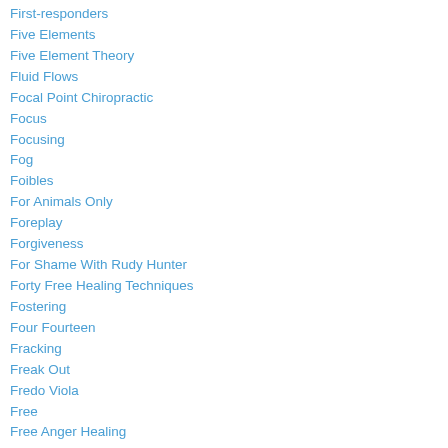First-responders
Five Elements
Five Element Theory
Fluid Flows
Focal Point Chiropractic
Focus
Focusing
Fog
Foibles
For Animals Only
Foreplay
Forgiveness
For Shame With Rudy Hunter
Forty Free Healing Techniques
Fostering
Four Fourteen
Fracking
Freak Out
Fredo Viola
Free
Free Anger Healing